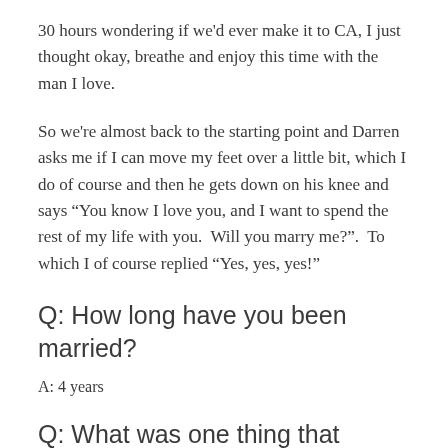30 hours wondering if we'd ever make it to CA, I just thought okay, breathe and enjoy this time with the man I love.
So we're almost back to the starting point and Darren asks me if I can move my feet over a little bit, which I do of course and then he gets down on his knee and says “You know I love you, and I want to spend the rest of my life with you.  Will you marry me?”.  To which I of course replied “Yes, yes, yes!”
Q: How long have you been married?
A: 4 years
Q: What was one thing that